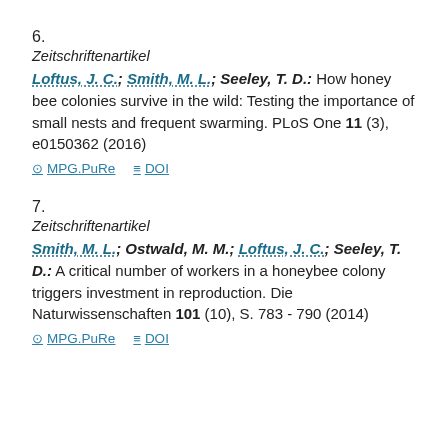6.
Zeitschriftenartikel
Loftus, J. C.; Smith, M. L.; Seeley, T. D.: How honey bee colonies survive in the wild: Testing the importance of small nests and frequent swarming. PLoS One 11 (3), e0150362 (2016)
MPG.PuRe   DOI
7.
Zeitschriftenartikel
Smith, M. L.; Ostwald, M. M.; Loftus, J. C.; Seeley, T. D.: A critical number of workers in a honeybee colony triggers investment in reproduction. Die Naturwissenschaften 101 (10), S. 783 - 790 (2014)
MPG.PuRe   DOI